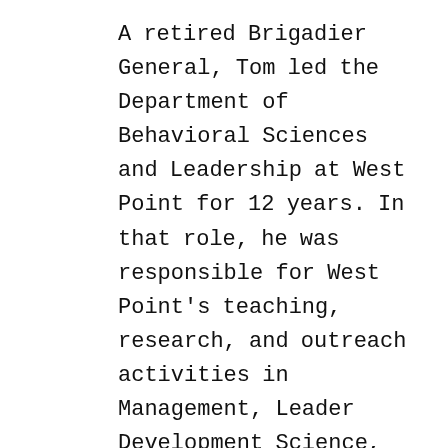A retired Brigadier General, Tom led the Department of Behavioral Sciences and Leadership at West Point for 12 years. In that role, he was responsible for West Point's teaching, research, and outreach activities in Management, Leader Development Science, Psychology, and Sociology, and was titled Professor Emeritus after retirement. A highly experienced global leader, General Kolditz has more than 35 years in leadership roles on four continents. His career has focused on either leading organizations himself, or studying leadership and leadership policy across sectors. He served for two years as a leadership and human resources policy analyst in the Pentagon, and a year as a concept developer in the Center for Army Leadership, and was the founding director of the West Point Leadership Center. He was instrumental in the design and formation of the Thayer Leadership...